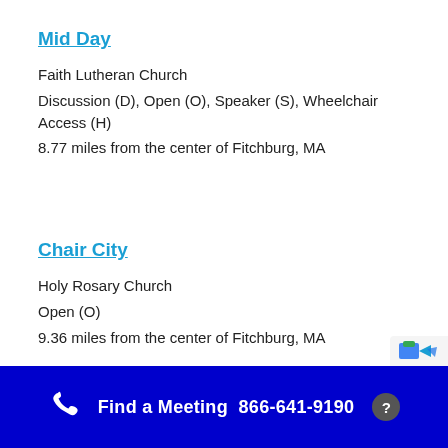Mid Day
Faith Lutheran Church
Discussion (D), Open (O), Speaker (S), Wheelchair Access (H)
8.77 miles from the center of Fitchburg, MA
Chair City
Holy Rosary Church
Open (O)
9.36 miles from the center of Fitchburg, MA
Find a Meeting  866-641-9190